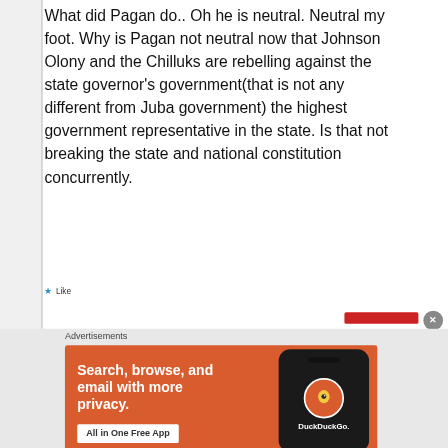What did Pagan do.. Oh he is neutral. Neutral my foot. Why is Pagan not neutral now that Johnson Olony and the Chilluks are rebelling against the state governor's government(that is not any different from Juba government) the highest government representative in the state. Is that not breaking the state and national constitution concurrently.
★ Like
Advertisements
[Figure (infographic): DuckDuckGo advertisement banner with orange background showing text 'Search, browse, and email with more privacy. All in One Free App' with a smartphone graphic and DuckDuckGo logo]